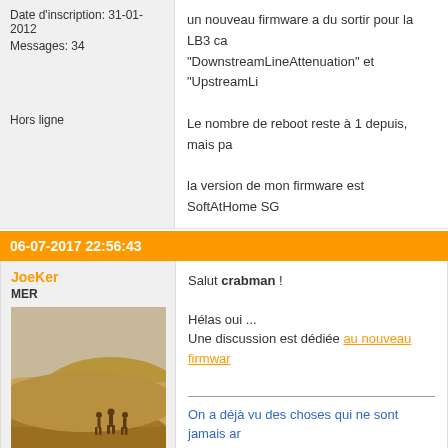Date d'inscription: 31-01-2012
Messages: 34
Hors ligne
un nouveau firmware a du sortir pour la LB3 ca... "DownstreamLineAttenuation" et "UpstreamLi...

Le nombre de reboot reste à 1 depuis, mais pa...

la version de mon firmware est SoftAtHome SG...
06-07-2017 22:56:43
JoeKer
MER
Lieu: Dans le désert ...
Date d'inscription: 26-03-2008
Messages: 40232
Site web
Hors ligne
Salut crabman !

Hélas oui ...

Une discussion est dédiée au nouveau firmwar...

On a déjà vu des choses qui ne sont jamais ar...
Suite à un vieux désaccord avec les admins du...
12-08-2017 11:44:48